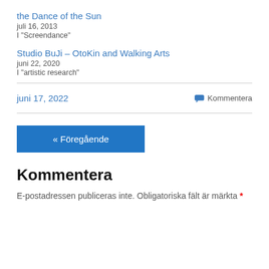the Dance of the Sun
juli 16, 2013
I "Screendance"
Studio BuJi – OtoKin and Walking Arts
juni 22, 2020
I "artistic research"
juni 17, 2022
Kommentera
« Föregående
Kommentera
E-postadressen publiceras inte. Obligatoriska fält är märkta *